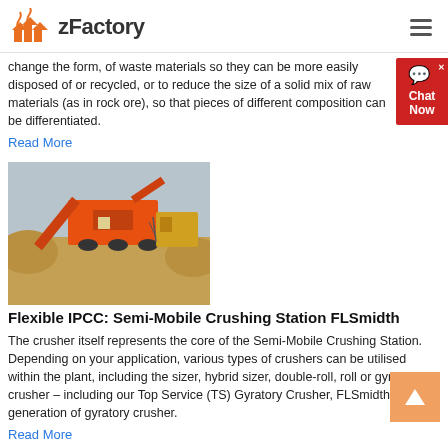zFactory
change the form, of waste materials so they can be more easily disposed of or recycled, or to reduce the size of a solid mix of raw materials (as in rock ore), so that pieces of different composition can be differentiated.
Read More
[Figure (photo): Photo of a large red semi-mobile crushing station machine on a sandy/dusty outdoor site with earthen mounds.]
Flexible IPCC: Semi-Mobile Crushing Station FLSmidth
The crusher itself represents the core of the Semi-Mobile Crushing Station. Depending on your application, various types of crushers can be utilised within the plant, including the sizer, hybrid sizer, double-roll, roll or gyratory crusher – including our Top Service (TS) Gyratory Crusher, FLSmidth's latest generation of gyratory crusher.
Read More